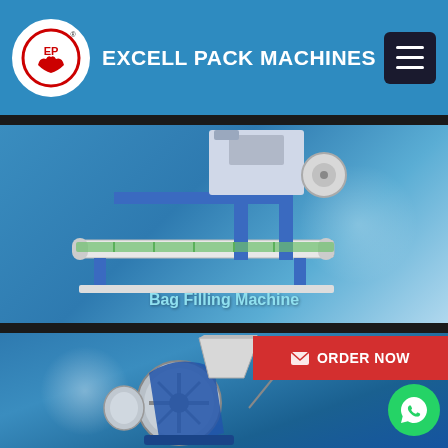EXCELL PACK MACHINES
[Figure (photo): Bag Filling Machine — industrial conveyor-based bag filling equipment, white and blue colored, photographed on blue gradient background]
Bag Filling Machine
[Figure (photo): Grinding machine — industrial blue and silver grinding machine with circular disc and hopper, photographed on blue gradient background]
ORDER NOW